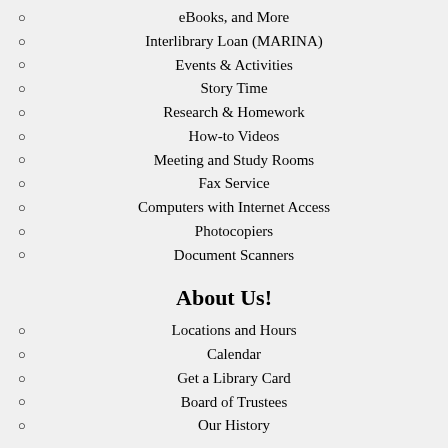eBooks, and More
Interlibrary Loan (MARINA)
Events & Activities
Story Time
Research & Homework
How-to Videos
Meeting and Study Rooms
Fax Service
Computers with Internet Access
Photocopiers
Document Scanners
About Us!
Locations and Hours
Calendar
Get a Library Card
Board of Trustees
Our History